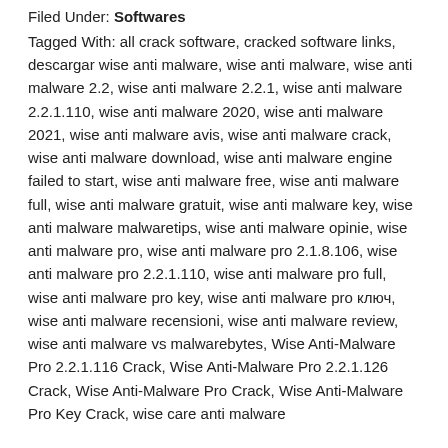Filed Under: Softwares
Tagged With: all crack software, cracked software links, descargar wise anti malware, wise anti malware, wise anti malware 2.2, wise anti malware 2.2.1, wise anti malware 2.2.1.110, wise anti malware 2020, wise anti malware 2021, wise anti malware avis, wise anti malware crack, wise anti malware download, wise anti malware engine failed to start, wise anti malware free, wise anti malware full, wise anti malware gratuit, wise anti malware key, wise anti malware malwaretips, wise anti malware opinie, wise anti malware pro, wise anti malware pro 2.1.8.106, wise anti malware pro 2.2.1.110, wise anti malware pro full, wise anti malware pro key, wise anti malware pro ключ, wise anti malware recensioni, wise anti malware review, wise anti malware vs malwarebytes, Wise Anti-Malware Pro 2.2.1.116 Crack, Wise Anti-Malware Pro 2.2.1.126 Crack, Wise Anti-Malware Pro Crack, Wise Anti-Malware Pro Key Crack, wise care anti malware